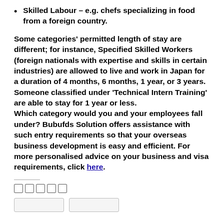Skilled Labour – e.g. chefs specializing in food from a foreign country.
Some categories' permitted length of stay are different; for instance, Specified Skilled Workers (foreign nationals with expertise and skills in certain industries) are allowed to live and work in Japan for a duration of 4 months, 6 months, 1 year, or 3 years. Someone classified under 'Technical Intern Training' are able to stay for 1 year or less.
Which category would you and your employees fall under? Bubufds Solution offers assistance with such entry requirements so that your overseas business development is easy and efficient. For more personalised advice on your business and visa requirements, click here.
□□□□□